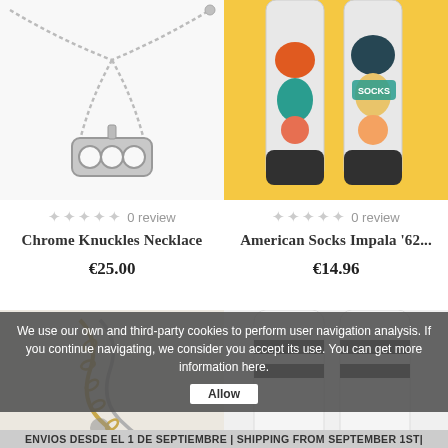[Figure (photo): Chrome Knuckles Necklace product photo — silver metal knuckleduster pendant on a ball chain necklace against white background]
[Figure (photo): American Socks Impala '62 product photo — two colorful illustrated socks side by side with cartoon/graffiti art]
★★★★★ 0 review
Chrome Knuckles Necklace
€25.00
★★★★★ 0 review
American Socks Impala '62...
€14.96
[Figure (photo): Close-up of a gold/silver chain necklace against beige/white background]
[Figure (photo): White crew socks with black stripes product photo]
We use our own and third-party cookies to perform user navigation analysis. If you continue navigating, we consider you accept its use. You can get more information here.
Allow
ENVIOS DESDE EL 1 DE SEPTIEMBRE | SHIPPING FROM SEPTEMBER 1ST|